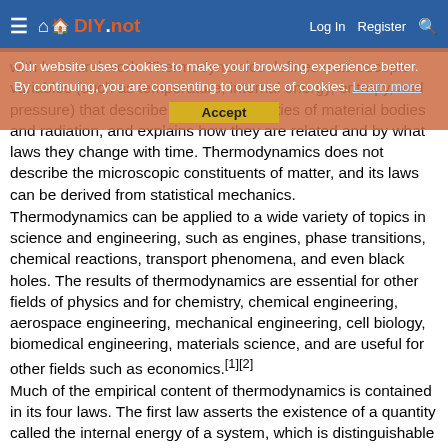DIY.not | Log In | Register (navigation bar with cookie consent overlay)
with heat and work. Thermodynamics defines macroscopic variables (such as temperature, internal energy, entropy, and pressure) that describe average properties of material bodies and radiation, and explains how they are related and by what laws they change with time. Thermodynamics does not describe the microscopic constituents of matter, and its laws can be derived from statistical mechanics.
Thermodynamics can be applied to a wide variety of topics in science and engineering, such as engines, phase transitions, chemical reactions, transport phenomena, and even black holes. The results of thermodynamics are essential for other fields of physics and for chemistry, chemical engineering, aerospace engineering, mechanical engineering, cell biology, biomedical engineering, materials science, and are useful for other fields such as economics.[1][2]
Much of the empirical content of thermodynamics is contained in its four laws. The first law asserts the existence of a quantity called the internal energy of a system, which is distinguishable from the kinetic energy of bulk movement of the system and